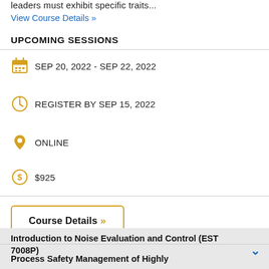leaders must exhibit specific traits...
View Course Details »
UPCOMING SESSIONS
SEP 20, 2022 - SEP 22, 2022
REGISTER BY SEP 15, 2022
ONLINE
$925
Course Details »
Introduction to Noise Evaluation and Control (EST 7008P)
Process Safety Management of Highly